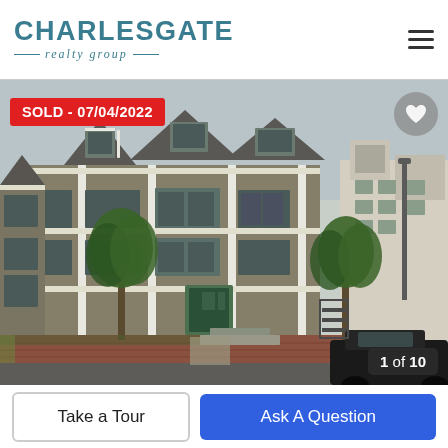[Figure (logo): CharlesGate Realty Group logo with teal text and italic subtitle]
[Figure (photo): Exterior photo of a multi-story tan/gray residential building with green trees and cars in foreground. Sold badge overlay reading SOLD - 07/04/2022. Heart icon top right. Image counter '1 of 10' bottom right.]
SOLD - 07/04/2022
1 of 10
Take a Tour
Ask A Question